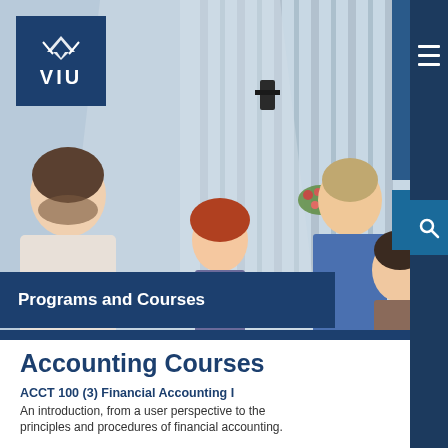[Figure (photo): University students smiling outdoors in front of a modern building with vertical architectural stripes. Four students visible: a bearded man on left, a woman with red hair, a tall young man in a blue shirt, and a woman on the right. Hanging flower baskets visible in background.]
VIU
Programs and Courses
Accounting Courses
ACCT 100 (3) Financial Accounting I
An introduction, from a user perspective to the principles and procedures of financial accounting.